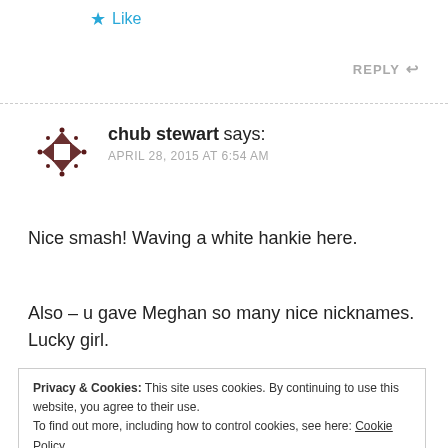★ Like
REPLY ↩
chub stewart says:
APRIL 28, 2015 AT 6:54 AM
Nice smash! Waving a white hankie here.
Also – u gave Meghan so many nice nicknames. Lucky girl.
Privacy & Cookies: This site uses cookies. By continuing to use this website, you agree to their use.
To find out more, including how to control cookies, see here: Cookie Policy
Close and accept